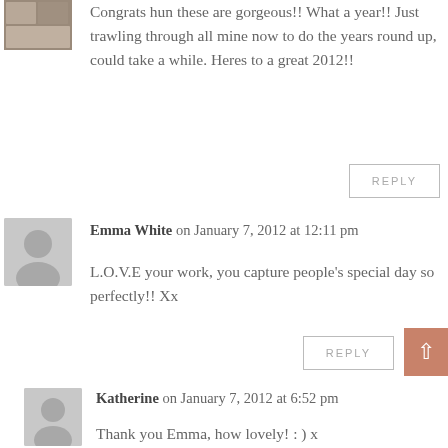[Figure (photo): Small thumbnail photo of a person, top left]
Congrats hun these are gorgeous!! What a year!! Just trawling through all mine now to do the years round up, could take a while. Heres to a great 2012!!
REPLY
Emma White on January 7, 2012 at 12:11 pm
[Figure (illustration): Grey default avatar silhouette]
L.O.V.E your work, you capture people's special day so perfectly!! Xx
REPLY
Katherine on January 7, 2012 at 6:52 pm
[Figure (illustration): Grey default avatar silhouette]
Thank you Emma, how lovely! : ) x